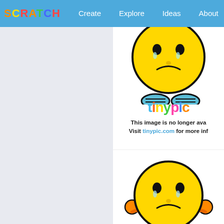SCRATCH | Create | Explore | Ideas | About | Search
[Figure (screenshot): Scratch website screenshot showing navigation bar with logo, Create, Explore, Ideas, About links and search box, left gray panel, and right white panel with two tinypic.com unavailable image placeholders showing a sad emoji mascot, and tinypic logo text]
This image is no longer ava... Visit tinypic.com for more inf...